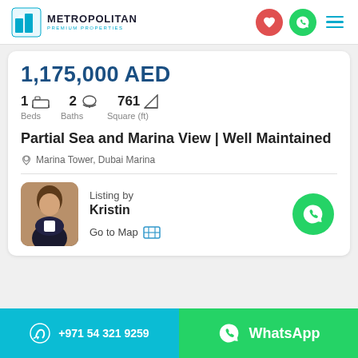[Figure (logo): Metropolitan Premium Properties logo with teal building icon and wordmark]
1,175,000 AED
1 Beds   2 Baths   761 Square (ft)
Partial Sea and Marina View | Well Maintained
Marina Tower, Dubai Marina
Listing by Kristin   Go to Map
+971 54 321 9259   WhatsApp